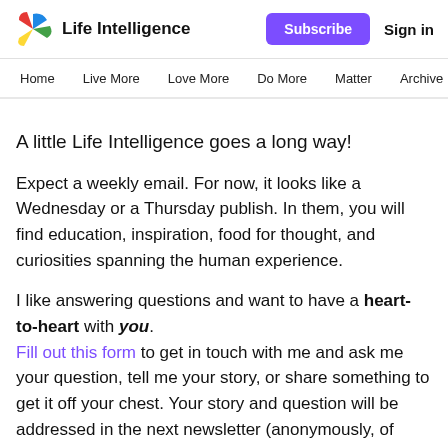Life Intelligence | Subscribe | Sign in | Home | Live More | Love More | Do More | Matter | Archive | A...
A little Life Intelligence goes a long way!
Expect a weekly email. For now, it looks like a Wednesday or a Thursday publish. In them, you will find education, inspiration, food for thought, and curiosities spanning the human experience.
I like answering questions and want to have a heart-to-heart with you. Fill out this form to get in touch with me and ask me your question, tell me your story, or share something to get it off your chest. Your story and question will be addressed in the next newsletter (anonymously, of course).